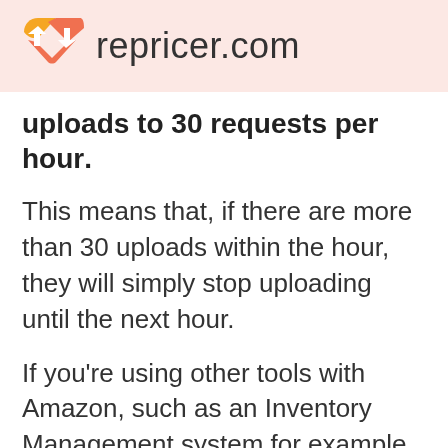repricer.com
uploads to 30 requests per hour.
This means that, if there are more than 30 uploads within the hour, they will simply stop uploading until the next hour.
If you're using other tools with Amazon, such as an Inventory Management system for example, this will limit the number of requests